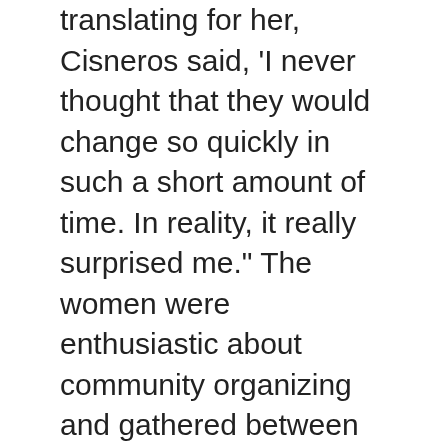translating for her, Cisneros said, 'I never thought that they would change so quickly in such a short amount of time. In reality, it really surprised me.' The women were enthusiastic about community organizing and gathered between 3,000 and 4,000 signatures in support of driver's licenses for immigrant workers. They have been working on garnering a base of support, including the gathering of signatures. Its signers include U.S. Rep. Keith Ellison, Minnesota State Sen. Patricia Torres Ray and Minnesota State Representatives Neva Walker and Karen Clark. Their goal is at least 5,000 signatures. Their next step is going to the state's transportation committee to...